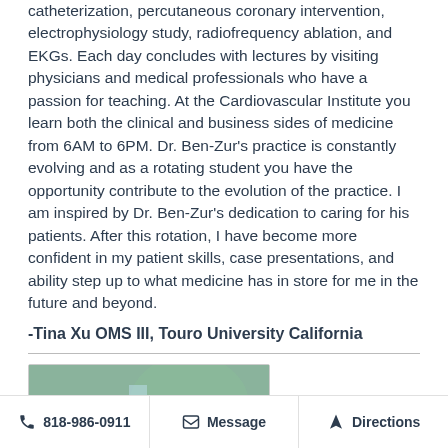catheterization, percutaneous coronary intervention, electrophysiology study, radiofrequency ablation, and EKGs. Each day concludes with lectures by visiting physicians and medical professionals who have a passion for teaching. At the Cardiovascular Institute you learn both the clinical and business sides of medicine from 6AM to 6PM. Dr. Ben-Zur's practice is constantly evolving and as a rotating student you have the opportunity contribute to the evolution of the practice. I am inspired by Dr. Ben-Zur's dedication to caring for his patients. After this rotation, I have become more confident in my patient skills, case presentations, and ability step up to what medicine has in store for me in the future and beyond.
-Tina Xu OMS III, Touro University California
[Figure (photo): Portrait photo of a man smiling, with a decorative painting in the background featuring a waterfall and ocean/nature scene.]
818-986-0911   Message   Directions